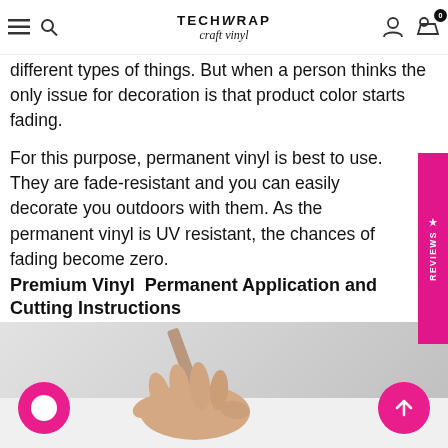TechWrap craft vinyl — navigation header
different types of things. But when a person thinks the only issue for decoration is that product color starts fading.
For this purpose, permanent vinyl is best to use. They are fade-resistant and you can easily decorate you outdoors with them. As the permanent vinyl is UV resistant, the chances of fading become zero.
Premium Vinyl  Permanent Application and Cutting Instructions
[Figure (photo): A hand holding a stylus or cutting tool, applying vinyl to a surface. Pink chat button on lower left, pink up-arrow button on lower right.]